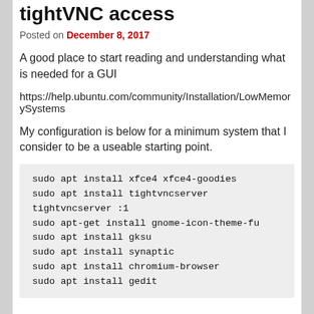tightVNC access
Posted on December 8, 2017
A good place to start reading and understanding what is needed for a GUI
https://help.ubuntu.com/community/Installation/LowMemorySystems
My configuration is below for a minimum system that I consider to be a useable starting point.
sudo apt install xfce4 xfce4-goodies
sudo apt install tightvncserver
tightvncserver :1
sudo apt-get install gnome-icon-theme-fu
sudo apt install gksu
sudo apt install synaptic
sudo apt install chromium-browser
sudo apt install gedit